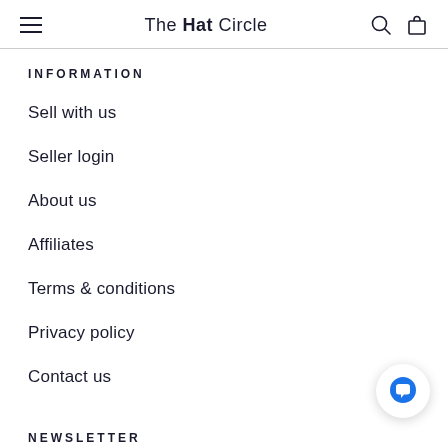The Hat Circle
INFORMATION
Sell with us
Seller login
About us
Affiliates
Terms & conditions
Privacy policy
Contact us
NEWSLETTER
Subscribe to receive event updates, hat stories, access to exclusive offers, and much more.